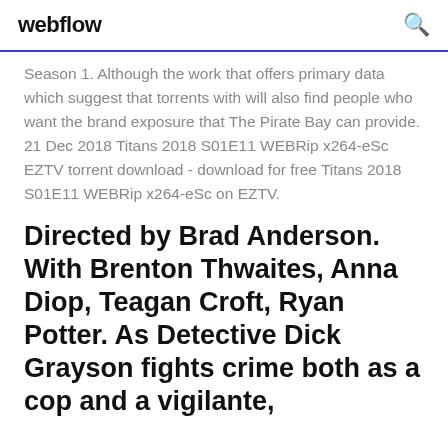webflow
Season 1. Although the work that offers primary data which suggest that torrents with will also find people who want the brand exposure that The Pirate Bay can provide. 21 Dec 2018 Titans 2018 S01E11 WEBRip x264-eSc EZTV torrent download - download for free Titans 2018 S01E11 WEBRip x264-eSc on EZTV.
Directed by Brad Anderson. With Brenton Thwaites, Anna Diop, Teagan Croft, Ryan Potter. As Detective Dick Grayson fights crime both as a cop and a vigilante,